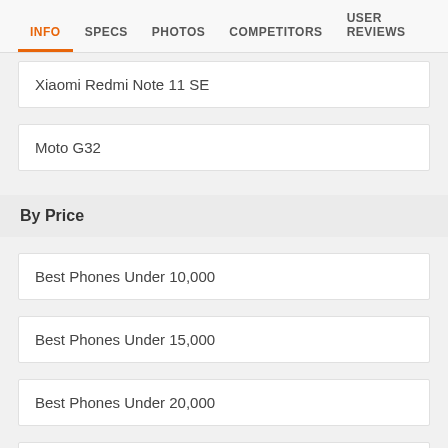INFO  SPECS  PHOTOS  COMPETITORS  USER REVIEWS
Xiaomi Redmi Note 11 SE
Moto G32
By Price
Best Phones Under 10,000
Best Phones Under 15,000
Best Phones Under 20,000
Best phones in any price range
Phones By Top Brands